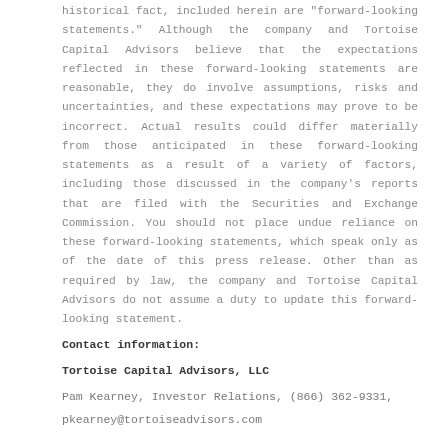historical fact, included herein are "forward-looking statements." Although the company and Tortoise Capital Advisors believe that the expectations reflected in these forward-looking statements are reasonable, they do involve assumptions, risks and uncertainties, and these expectations may prove to be incorrect. Actual results could differ materially from those anticipated in these forward-looking statements as a result of a variety of factors, including those discussed in the company's reports that are filed with the Securities and Exchange Commission. You should not place undue reliance on these forward-looking statements, which speak only as of the date of this press release. Other than as required by law, the company and Tortoise Capital Advisors do not assume a duty to update this forward-looking statement.
Contact information:
Tortoise Capital Advisors, LLC
Pam Kearney, Investor Relations, (866) 362-9331,
pkearney@tortoiseadvisors.com